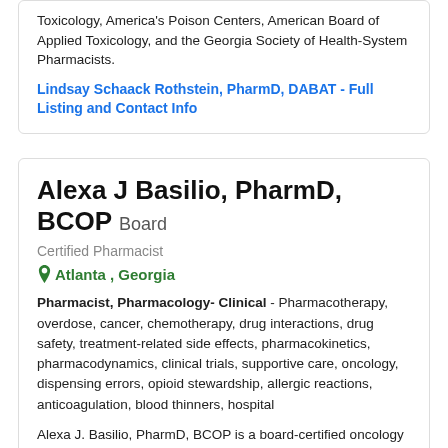Toxicology, America's Poison Centers, American Board of Applied Toxicology, and the Georgia Society of Health-System Pharmacists.
Lindsay Schaack Rothstein, PharmD, DABAT - Full Listing and Contact Info
Alexa J Basilio, PharmD, BCOP Board Certified Pharmacist
Atlanta , Georgia
Pharmacist, Pharmacology- Clinical - Pharmacotherapy, overdose, cancer, chemotherapy, drug interactions, drug safety, treatment-related side effects, pharmacokinetics, pharmacodynamics, clinical trials, supportive care, oncology, dispensing errors, opioid stewardship, allergic reactions, anticoagulation, blood thinners, hospital
Alexa J. Basilio, PharmD, BCOP is a board-certified oncology pharmacist at Emory University Hospital. As the